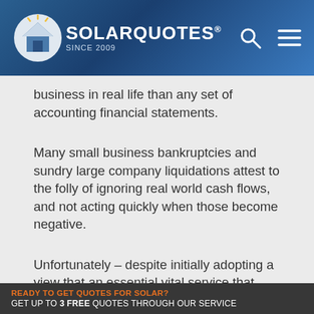SOLARQUOTES® SINCE 2009
business in real life than any set of accounting financial statements.
Many small business bankruptcies and sundry large company liquidations attest to the folly of ignoring real world cash flows, and not acting quickly when those become negative.
Unfortunately – despite initially adopting a view that an essential vital service that affects the entire population along with every business and government enterprise throughout Australia could be safely left to the application of 'free-market' principles, and why [text continues] en care who its ul[text continues] eventually become
READY TO GET QUOTES FOR SOLAR? GET UP TO 3 FREE QUOTES THROUGH OUR SERVICE